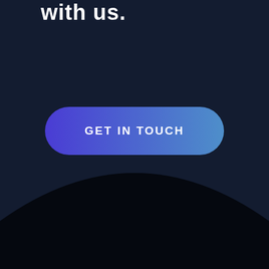with us.
[Figure (illustration): A rounded pill-shaped button with a blue-to-light-blue gradient from left to right, labeled 'GET IN TOUCH' in bold white uppercase letters, on a dark navy background. Below the button is a large curved dark shape creating a wave/arc effect at the bottom of the page.]